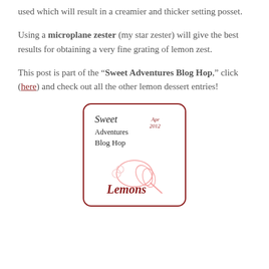used which will result in a creamier and thicker setting posset.
Using a microplane zester (my star zester) will give the best results for obtaining a very fine grating of lemon zest.
This post is part of the “Sweet Adventures Blog Hop,” click (here) and check out all the other lemon dessert entries!
[Figure (logo): Sweet Adventures Blog Hop logo with 'Lemons' theme, Apr 2012, showing a whisk and lemon illustration in red and pink tones]